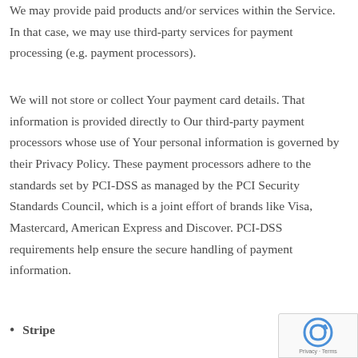We may provide paid products and/or services within the Service. In that case, we may use third-party services for payment processing (e.g. payment processors).
We will not store or collect Your payment card details. That information is provided directly to Our third-party payment processors whose use of Your personal information is governed by their Privacy Policy. These payment processors adhere to the standards set by PCI-DSS as managed by the PCI Security Standards Council, which is a joint effort of brands like Visa, Mastercard, American Express and Discover. PCI-DSS requirements help ensure the secure handling of payment information.
Stripe